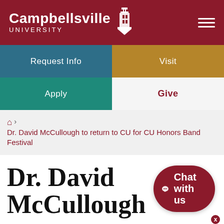[Figure (logo): Campbellsville University logo with tower icon on dark red background]
Request Info | Visit | Apply | Give
🏠 › Dr. David McCullough to return to CU for CU Honors Band Festival
Dr. David McCullough to return t…
[Figure (other): Chat with us button widget in dark red rounded pill shape]